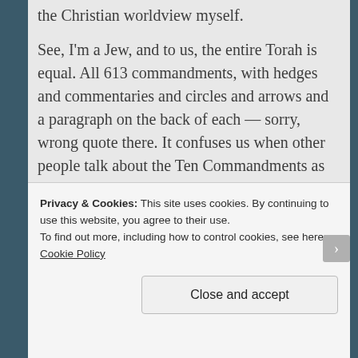the Christian worldview myself.
See, I'm a Jew, and to us, the entire Torah is equal. All 613 commandments, with hedges and commentaries and circles and arrows and a paragraph on the back of each — sorry, wrong quote there. It confuses us when other people talk about the Ten Commandments as if they were any more important than the law telling us not to eat shellfish, or that we have to wear fringes. It
Privacy & Cookies: This site uses cookies. By continuing to use this website, you agree to their use.
To find out more, including how to control cookies, see here: Cookie Policy
Close and accept